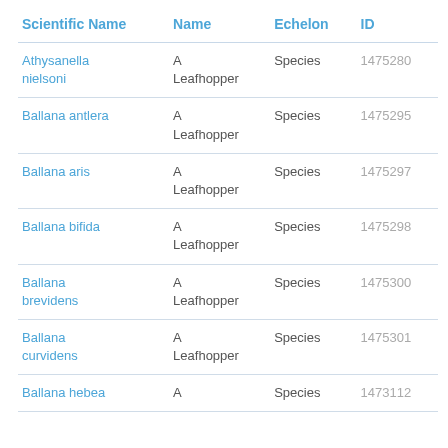| Scientific Name | Name | Echelon | ID |
| --- | --- | --- | --- |
| Athysanella nielsoni | A Leafhopper | Species | 1475280 |
| Ballana antlera | A Leafhopper | Species | 1475295 |
| Ballana aris | A Leafhopper | Species | 1475297 |
| Ballana bifida | A Leafhopper | Species | 1475298 |
| Ballana brevidens | A Leafhopper | Species | 1475300 |
| Ballana curvidens | A Leafhopper | Species | 1475301 |
| Ballana hebea | A | Species | 1473112 |